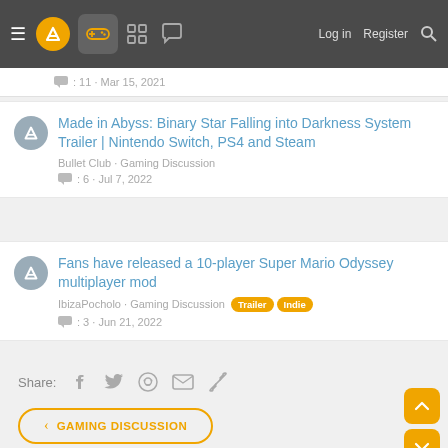≡  [logo] [gamepad] [grid] [chat]   Log in   Register   🔍
: 11 · Mar 15, 2021
Made in Abyss: Binary Star Falling into Darkness System Trailer | Nintendo Switch, PS4 and Steam
Bullet Club · Gaming Discussion
: 6 · Jul 7, 2022
Fans have released a 10-player Super Mario Odyssey multiplayer mod
IbizaPocholo · Gaming Discussion  Trailer  Indie
: 3 · Jun 21, 2022
Share:  f  🐦  reddit  ✉  🔗
‹  GAMING DISCUSSION